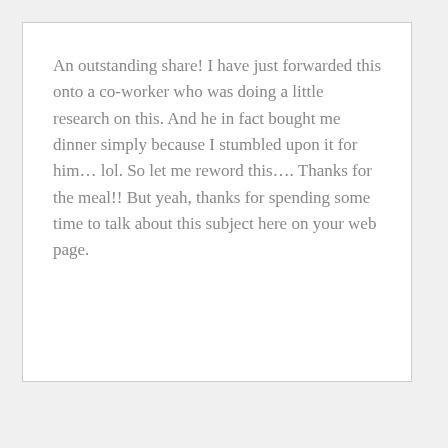An outstanding share! I have just forwarded this onto a co-worker who was doing a little research on this. And he in fact bought me dinner simply because I stumbled upon it for him… lol. So let me reword this…. Thanks for the meal!! But yeah, thanks for spending some time to talk about this subject here on your web page.